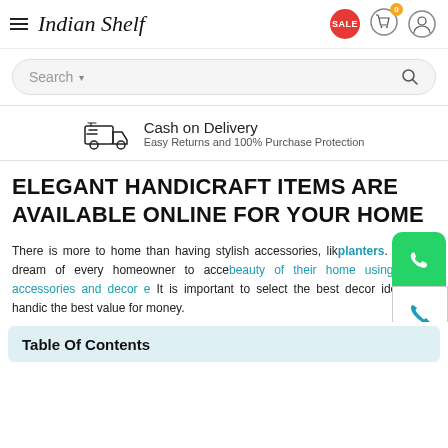Indian Shelf — SALE
Search
Cash on Delivery — Easy Returns and 100% Purchase Protection
ELEGANT HANDICRAFT ITEMS ARE AVAILABLE ONLINE FOR YOUR HOME
There is more to home than having stylish accessories, like planters. It is the dream of every homeowner to accent beauty of their home using stylish accessories and decor elements. It is important to select the best decor ideas and handicraft items that give the best value for money.
Table Of Contents